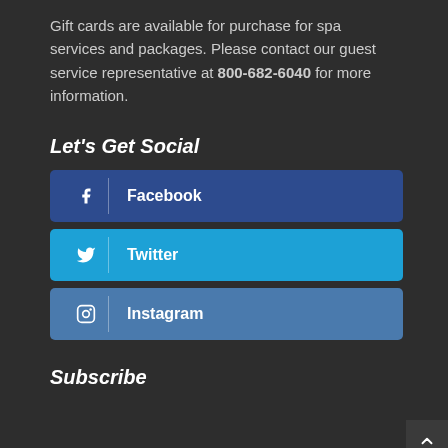Gift cards are available for purchase for spa services and packages. Please contact our guest service representative at 800-682-6040 for more information.
Let's Get Social
[Figure (infographic): Three social media buttons: Facebook (dark blue), Twitter (light blue), Instagram (medium blue), each with icon and label text. A scroll-up arrow button visible at right.]
Subscribe